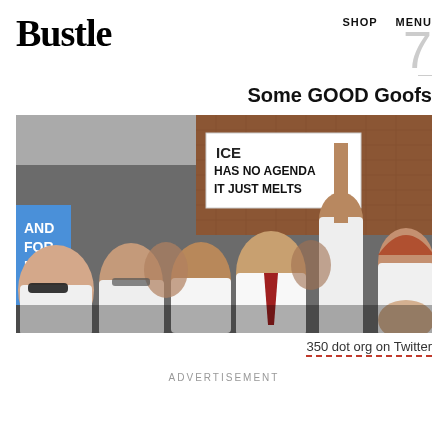Bustle   SHOP   MENU   7
Some GOOD Goofs
[Figure (photo): Crowd of protesters many in white lab coats at a science march. One person holds a sign reading 'ICE HAS NO AGENDA IT JUST MELTS'. A blue sign on the left reads 'AND FOR NCE'. Brick building visible in background.]
350 dot org on Twitter
ADVERTISEMENT